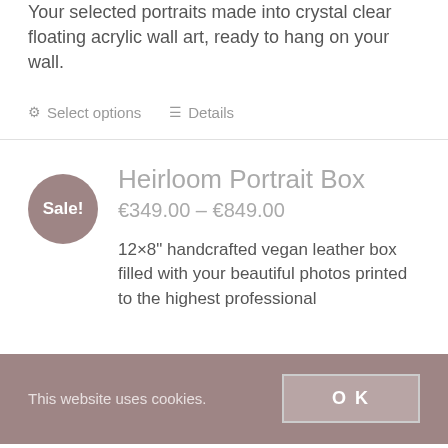Your selected portraits made into crystal clear floating acrylic wall art, ready to hang on your wall.
⚙ Select options
☰ Details
Heirloom Portrait Box
€349.00 – €849.00
12×8" handcrafted vegan leather box filled with your beautiful photos printed to the highest professional
This website uses cookies.
OK